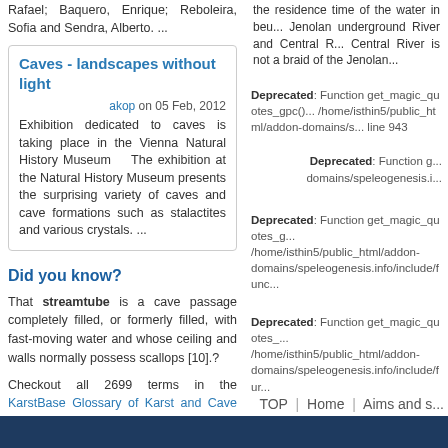Rafael; Baquero, Enrique; Reboleira, Sofia and Sendra, Alberto. ...
Caves - landscapes without light
akop on 05 Feb, 2012
Exhibition dedicated to caves is taking place in the Vienna Natural History Museum The exhibition at the Natural History Museum presents the surprising variety of caves and cave formations such as stalactites and various crystals. ...
Did you know?
That streamtube is a cave passage completely filled, or formerly filled, with fast-moving water and whose ceiling and walls normally possess scallops [10].?
Checkout all 2699 terms in the KarstBase Glossary of Karst and Cave Terms
the residence time of the water in beu... Jenolan underground River and Central R... Central River is not a braid of the Jenolan...
Deprecated: Function get_magic_quotes_gpc()... /home/isthin5/public_html/addon-domains/s... line 943
Deprecated: Function g... domains/speleogenesis.i...
Deprecated: Function get_magic_quotes_g... /home/isthin5/public_html/addon-domains/speleogenesis.info/include/func...
Deprecated: Function get_magic_quotes_... /home/isthin5/public_html/addon-domains/speleogenesis.info/include/fur...
TOP | Home | Aims and s...